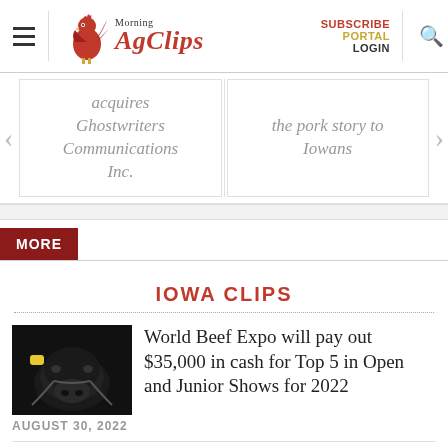Morning AgClips — SUBSCRIBE PORTAL LOGIN
[Figure (screenshot): Slider carousel showing two article cards: left card with italic gray text '...acquires Ghostwriters Communications Inc.' and right card with italic gray text 'the pork story to Iowans', with navigation arrows on each side]
MORE
IOWA CLIPS
[Figure (photo): Thumbnail photo of a black Angus beef cattle with yellow ear tag, face close-up]
World Beef Expo will pay out $35,000 in cash for Top 5 in Open and Junior Shows for 2022
AUGUST 30, 2022
[Figure (photo): Thumbnail photo of a white/cream colored lamb face close-up]
Lamb quality highly influenced by on-farm practices